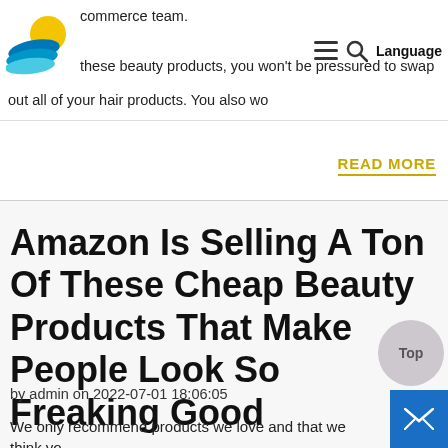commerce team.
these beauty products, you won't be pressured to swap out all of your hair products. You also wo
READ MORE
Amazon Is Selling A Ton Of These Cheap Beauty Products That Make People Look So Freaking Good
by admin on 2022-07-01 18:06:05
We only recommend products we love and that we think yo